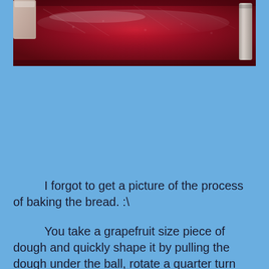[Figure (photo): Close-up photo of what appears to be a red/maroon food item covered in plastic wrap, on a dark background, with a white cup or container visible at the top left and a metallic tool or utensil on the right side.]
I forgot to get a picture of the process of baking the bread. :\
You take a grapefruit size piece of dough and quickly shape it by pulling the dough under the ball, rotate a quarter turn and repeat until you have a nice smooth top. Place the dough ball onto the pizza peel sprinkled with cornmeal, pan with parchment paper, or pan with silicone